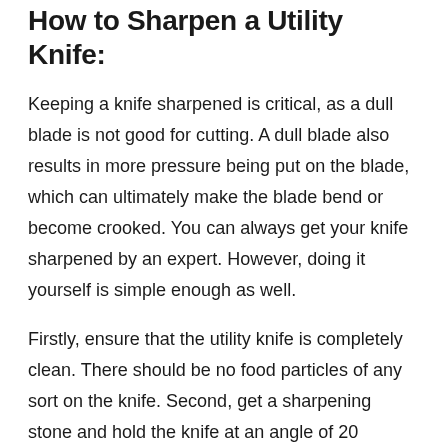How to Sharpen a Utility Knife:
Keeping a knife sharpened is critical, as a dull blade is not good for cutting. A dull blade also results in more pressure being put on the blade, which can ultimately make the blade bend or become crooked. You can always get your knife sharpened by an expert. However, doing it yourself is simple enough as well.
Firstly, ensure that the utility knife is completely clean. There should be no food particles of any sort on the knife. Second, get a sharpening stone and hold the knife at an angle of 20 degrees to the stone and start pushing the knife backward and forwards. Start with sharpening the coarse edge and then move on the smooth edge. Once you are happy with the amount of sharpening, you can test out the